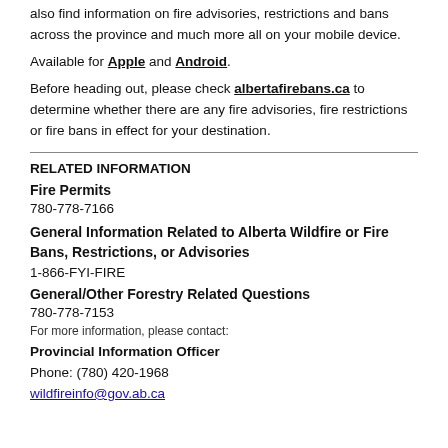also find information on fire advisories, restrictions and bans across the province and much more all on your mobile device.
Available for Apple and Android.
Before heading out, please check albertafirebans.ca to determine whether there are any fire advisories, fire restrictions or fire bans in effect for your destination.
RELATED INFORMATION
Fire Permits
780-778-7166
General Information Related to Alberta Wildfire or Fire Bans, Restrictions, or Advisories
1-866-FYI-FIRE
General/Other Forestry Related Questions
780-778-7153
For more information, please contact:
Provincial Information Officer
Phone: (780) 420-1968
wildfireinfo@gov.ab.ca